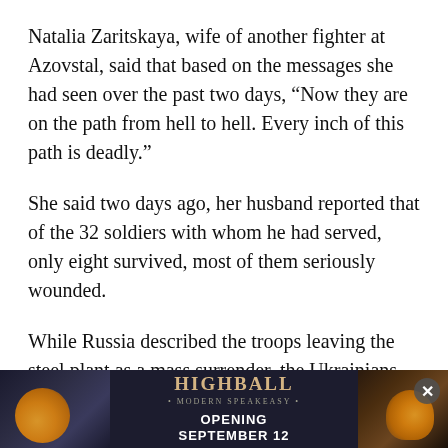Natalia Zaritskaya, wife of another fighter at Azovstal, said that based on the messages she had seen over the past two days, “Now they are on the path from hell to hell. Every inch of this path is deadly.”
She said two days ago, her husband reported that of the 32 soldiers with whom he had served, only eight survived, most of them seriously wounded.
While Russia described the troops leaving the steel plant as a mass surrender, the Ukrainians called it a mission fulfilled. They said the fighters had tied down Moscow’s forces and hindered their bid to seize the east.
Mykhailo Podolyak, an adviser to Zelenskyy, described the def[enders as heroes of the] 21st centur[y and said their resistance was extraordin]ious
[Figure (other): Advertisement banner for HIGHBALL Modern Speakeasy, Opening September 12, partially obscuring the bottom of the article text. Shows dark background with orange circular decorative elements on left and right sides, HIGHBALL logo in gold, and opening date text. An X close button is visible on the right side.]